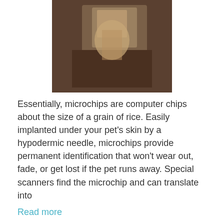[Figure (photo): A person holding something, dark/brownish photo, cropped at top]
Essentially, microchips are computer chips about the size of a grain of rice. Easily implanted under your pet's skin by a hypodermic needle, microchips provide permanent identification that won't wear out, fade, or get lost if the pet runs away. Special scanners find the microchip and can translate into
Read more
Fresh Breath and Straight Teeth
Category: Video Newsroom, Technology and Science
[Figure (photo): A person with a dog, lighter toned photo, partially visible at bottom]